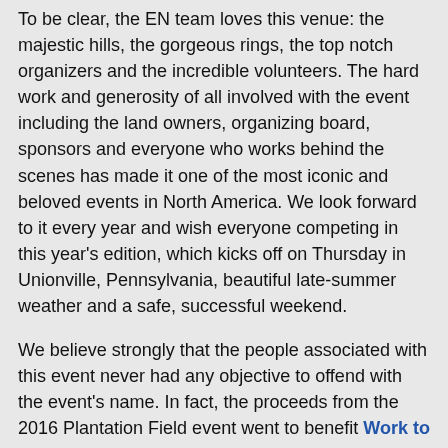To be clear, the EN team loves this venue: the majestic hills, the gorgeous rings, the top notch organizers and the incredible volunteers. The hard work and generosity of all involved with the event including the land owners, organizing board, sponsors and everyone who works behind the scenes has made it one of the most iconic and beloved events in North America. We look forward to it every year and wish everyone competing in this year's edition, which kicks off on Thursday in Unionville, Pennsylvania, beautiful late-summer weather and a safe, successful weekend.
We believe strongly that the people associated with this event never had any objective to offend with the event's name. In fact, the proceeds from the 2016 Plantation Field event went to benefit Work to Ride, which gives disadvantaged urban youth the opportunity to learn to ride and care for horses.
We also believe that we do not have the right to determine what others are offended by.
While the purest definition of "plantation" may simply be a piece of property that has been farmed for a long piece of time, part of the definition mentions that those who worked the land were usually resident laborers. Colonization all over the world meant that while